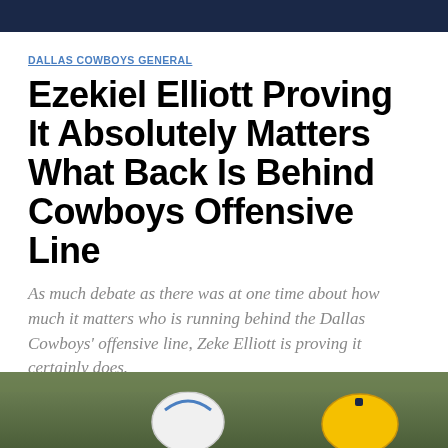DALLAS COWBOYS GENERAL
Ezekiel Elliott Proving It Absolutely Matters What Back Is Behind Cowboys Offensive Line
As much debate as there was at one time about how much it matters who is running behind the Dallas Cowboys' offensive line, Zeke Elliott is proving it certainly does.
By Michael Sisemore | @MrSisemore | Oct 26, 2016, 6:00pm CDT
SHARE
[Figure (photo): Partial photo of football players in green/yellow and Dallas Cowboys helmets at bottom of page]